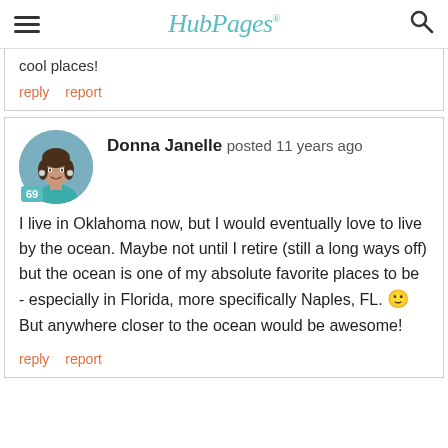HubPages
cool places!
reply   report
Donna Janelle posted 11 years ago
[Figure (photo): Profile photo of Donna Janelle, a woman in a teal top, circular avatar with score badge 69]
I live in Oklahoma now, but I would eventually love to live by the ocean. Maybe not until I retire (still a long ways off) but the ocean is one of my absolute favorite places to be - especially in Florida, more specifically Naples, FL. 🙂 But anywhere closer to the ocean would be awesome!
reply   report